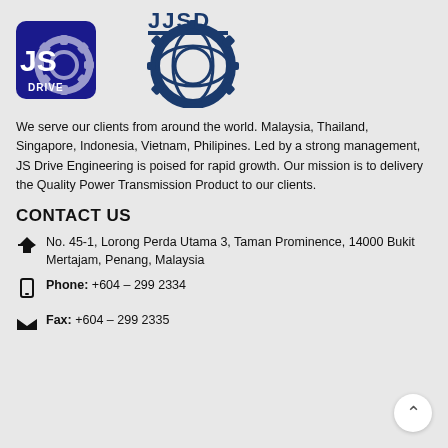[Figure (logo): Two logos side by side: left is JSB DRIVE logo (blue square with gear and text), right is JSD logo (blue gear with globe design and text JJSD)]
We serve our clients from around the world. Malaysia, Thailand, Singapore, Indonesia, Vietnam, Philipines. Led by a strong management, JS Drive Engineering is poised for rapid growth. Our mission is to delivery the Quality Power Transmission Product to our clients.
CONTACT US
No. 45-1, Lorong Perda Utama 3, Taman Prominence, 14000 Bukit Mertajam, Penang, Malaysia
Phone: +604 – 299 2334
Fax: +604 – 299 2335